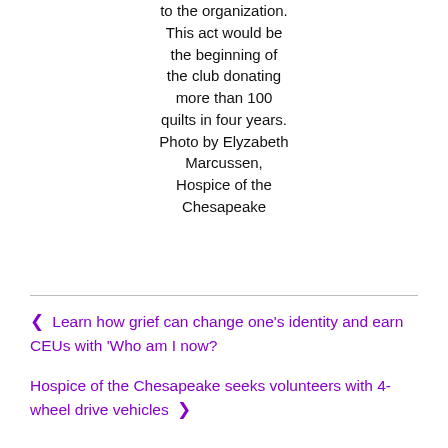to the organization. This act would be the beginning of the club donating more than 100 quilts in four years. Photo by Elyzabeth Marcussen, Hospice of the Chesapeake
◀ Learn how grief can change one's identity and earn CEUs with 'Who am I now?
Hospice of the Chesapeake seeks volunteers with 4-wheel drive vehicles ▶